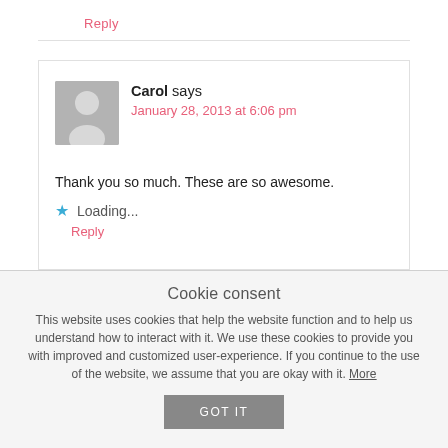Reply
Carol says
January 28, 2013 at 6:06 pm
Thank you so much. These are so awesome.
Loading...
Reply
Cookie consent
This website uses cookies that help the website function and to help us understand how to interact with it. We use these cookies to provide you with improved and customized user-experience. If you continue to the use of the website, we assume that you are okay with it. More
GOT IT